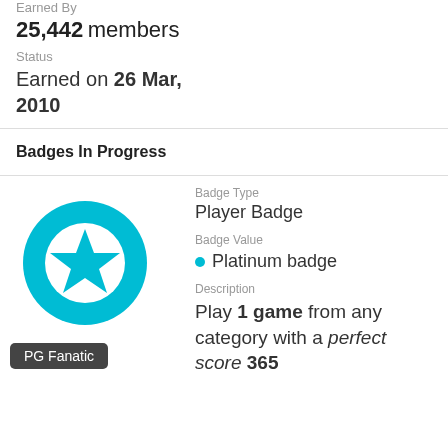Earned By
25,442 members
Status
Earned on 26 Mar, 2010
Badges In Progress
Badge Type
Player Badge
Badge Value
• Platinum badge
Description
Play 1 game from any category with a perfect score 365
[Figure (illustration): Circular cyan badge icon with a white star in the center, with a dark tooltip label reading 'PG Fanatic' below]